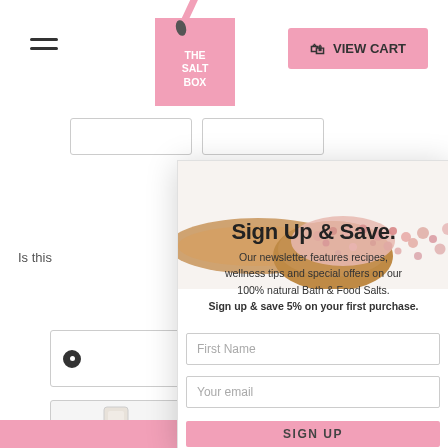[Figure (screenshot): The Salt Box e-commerce website header with hamburger menu, pink logo, and VIEW CART button. A signup modal overlay is shown with title 'Sign Up & Save.', newsletter description, First Name and email input fields, and a pink SIGN UP button. Background shows partial website content with radio buttons and product image.]